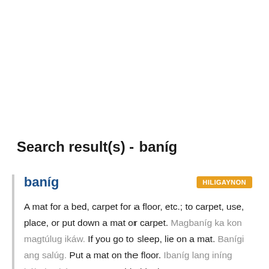Search result(s) - baníg
baníg HILIGAYNON A mat for a bed, carpet for a floor, etc.; to carpet, use, place, or put down a mat or carpet. Magbaníg ka kon magtúlug ikáw. If you go to sleep, lie on a mat. Banígi ang salúg. Put a mat on the floor. Ibaníg lang iníng hábulsa kátre. Just use this blanket as a